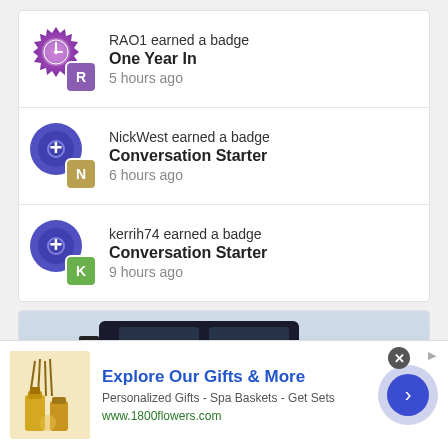RAO1 earned a badge
One Year In
5 hours ago
NickWest earned a badge
Conversation Starter
6 hours ago
kerrih74 earned a badge
Conversation Starter
9 hours ago
[Figure (photo): Advertisement banner showing a dark SUV/van with mountains in background, and a 1800flowers.com product advertisement at bottom with spa/gift products]
Explore Our Gifts & More
Personalized Gifts - Spa Baskets - Get Sets
www.1800flowers.com